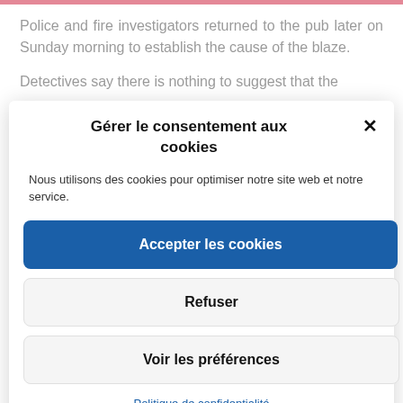Police and fire investigators returned to the pub later on Sunday morning to establish the cause of the blaze.
Detectives say there is nothing to suggest that the
Gérer le consentement aux cookies
Nous utilisons des cookies pour optimiser notre site web et notre service.
Accepter les cookies
Refuser
Voir les préférences
Politique de confidentialité